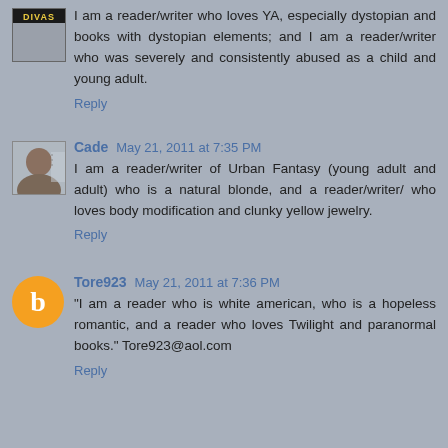I am a reader/writer who loves YA, especially dystopian and books with dystopian elements; and I am a reader/writer who was severely and consistently abused as a child and young adult.
Reply
Cade May 21, 2011 at 7:35 PM
I am a reader/writer of Urban Fantasy (young adult and adult) who is a natural blonde, and a reader/writer/ who loves body modification and clunky yellow jewelry.
Reply
Tore923 May 21, 2011 at 7:36 PM
"I am a reader who is white american, who is a hopeless romantic, and a reader who loves Twilight and paranormal books." Tore923@aol.com
Reply